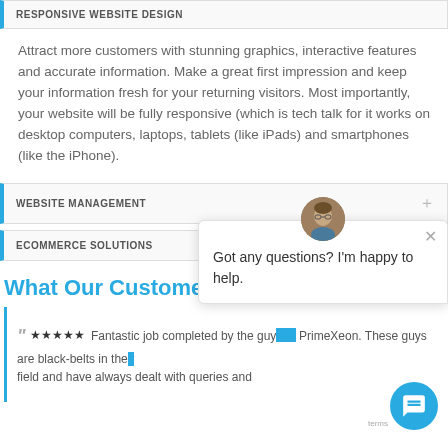RESPONSIVE WEBSITE DESIGN
Attract more customers with stunning graphics, interactive features and accurate information. Make a great first impression and keep your information fresh for your returning visitors. Most importantly, your website will be fully responsive (which is tech talk for it works on desktop computers, laptops, tablets (like iPads) and smartphones (like the iPhone).
WEBSITE MANAGEMENT
ECOMMERCE SOLUTIONS
What Our Customers Say
★★★★★ Fantastic job completed by the guys at PrimeXeon. These guys are black-belts in their field and have always dealt with queries and
[Figure (other): Chat widget overlay with avatar photo of a man wearing glasses, close button (×), and message text: Got any questions? I'm happy to help.]
[Figure (other): Blue circular chat button with speech bubble icon, bottom right corner]